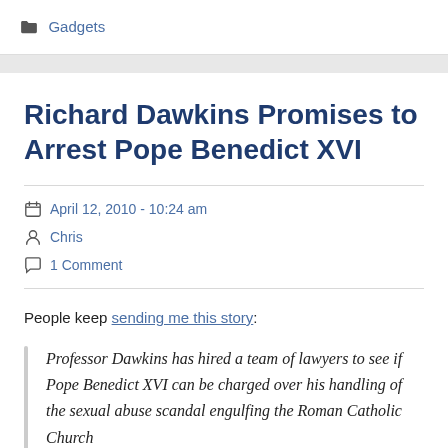Gadgets
Richard Dawkins Promises to Arrest Pope Benedict XVI
April 12, 2010 - 10:24 am
Chris
1 Comment
People keep sending me this story:
Professor Dawkins has hired a team of lawyers to see if Pope Benedict XVI can be charged over his handling of the sexual abuse scandal engulfing the Roman Catholic Church